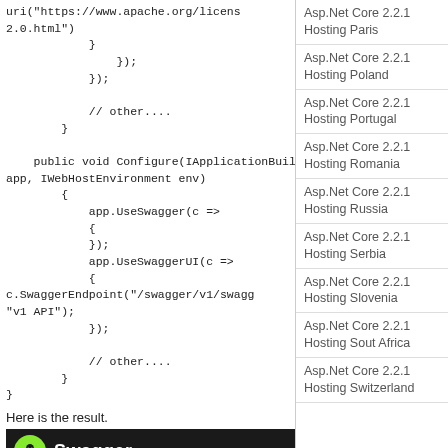uri("https://www.apache.org/licenses/2.0.html")
            }
                });
            });

            // other....
        }

    public void Configure(IApplicationBuilder app, IWebHostEnvironment env)
        {
            app.UseSwagger(c =>
            {
            });
            app.UseSwaggerUI(c =>
            {
c.SwaggerEndpoint("/swagger/v1/swagger"
"v1 API");
            });

            // other....
        }
}
Here is the result.
[Figure (screenshot): Swagger UI dark header bar with green skull logo]
Asp.Net Core 2.2.1 Hosting Paris
Asp.Net Core 2.2.1 Hosting Poland
Asp.Net Core 2.2.1 Hosting Portugal
Asp.Net Core 2.2.1 Hosting Romania
Asp.Net Core 2.2.1 Hosting Russia
Asp.Net Core 2.2.1 Hosting Serbia
Asp.Net Core 2.2.1 Hosting Slovenia
Asp.Net Core 2.2.1 Hosting Sout Africa
Asp.Net Core 2.2.1 Hosting Switzerland